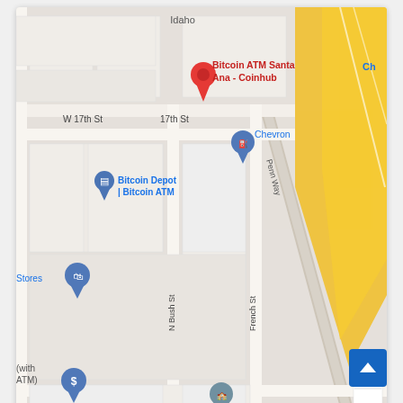[Figure (map): Google Maps screenshot showing area around 17th St in Santa Ana, CA. A red pin marks 'Bitcoin ATM Santa Ana - Coinhub'. Nearby landmarks include Bitcoin Depot | Bitcoin ATM, Chevron gas station, Davis Elementary School. Streets visible include W 17th St, 17th St, N Bush St, French St, E 14th St, and Penn Way. A yellow highway diagonal runs along the right side. Map includes zoom controls (+/-), a street view thumbnail, Google logo, and footer text: 'Keyboard shortcuts   Map data ©2022   Terms of Use'.]
[Figure (other): Blue scroll-to-top button with white upward chevron arrow, positioned bottom-right of the page.]